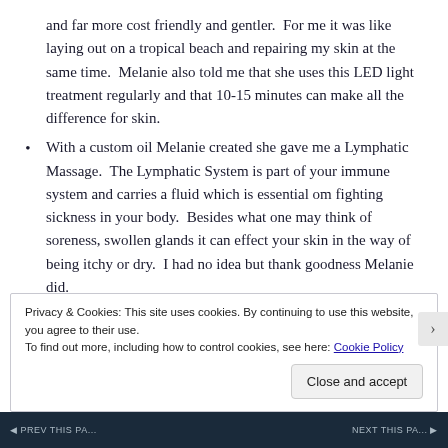and far more cost friendly and gentler.  For me it was like laying out on a tropical beach and repairing my skin at the same time.  Melanie also told me that she uses this LED light treatment regularly and that 10-15 minutes can make all the difference for skin.
With a custom oil Melanie created she gave me a Lymphatic Massage.  The Lymphatic System is part of your immune system and carries a fluid which is essential om fighting sickness in your body.  Besides what one may think of soreness, swollen glands it can effect your skin in the way of being itchy or dry.  I had no idea but thank goodness Melanie did.
Sadly to say the last piece of the custom facial was the
Privacy & Cookies: This site uses cookies. By continuing to use this website, you agree to their use.
To find out more, including how to control cookies, see here: Cookie Policy
Close and accept